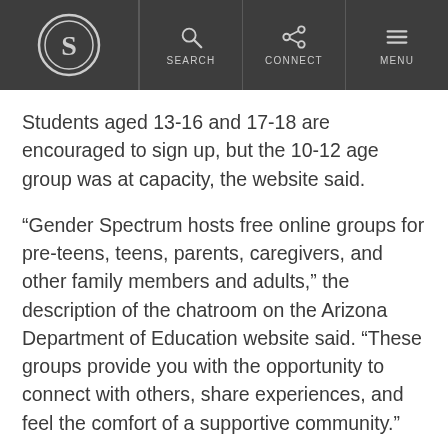S | SEARCH | CONNECT | MENU
Students aged 13-16 and 17-18 are encouraged to sign up, but the 10-12 age group was at capacity, the website said.
“Gender Spectrum hosts free online groups for pre-teens, teens, parents, caregivers, and other family members and adults,” the description of the chatroom on the Arizona Department of Education website said. “These groups provide you with the opportunity to connect with others, share experiences, and feel the comfort of a supportive community.”
The other chatroom is called Q Chat Space and is targeted toward LGBT students ages 13 to 19,